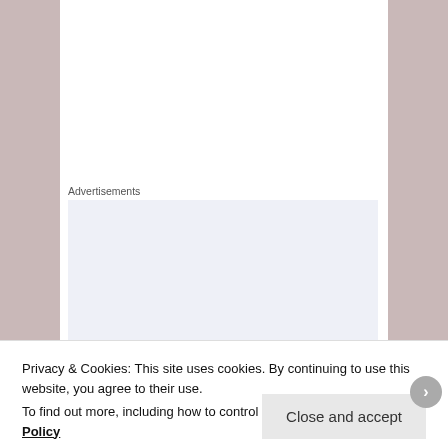Advertisements
[Figure (screenshot): Advertisement banner with light blue-gray background containing large serif text: 'Build a writing habit. Post on the go.']
I know it doesn't seem to make sense but I don't have the
Privacy & Cookies: This site uses cookies. By continuing to use this website, you agree to their use.
To find out more, including how to control cookies, see here: Cookie Policy
Close and accept